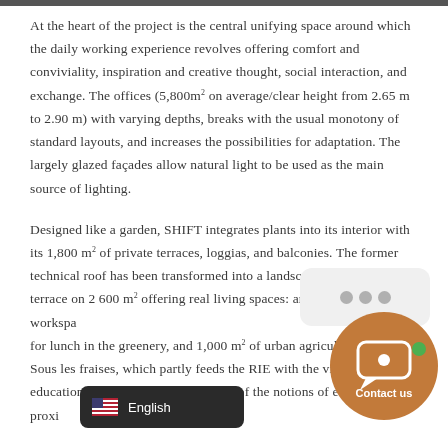At the heart of the project is the central unifying space around which the daily working experience revolves offering comfort and conviviality, inspiration and creative thought, social interaction, and exchange. The offices (5,800m² on average/clear height from 2.65 m to 2.90 m) with varying depths, breaks with the usual monotony of standard layouts, and increases the possibilities for adaptation. The largely glazed façades allow natural light to be used as the main source of lighting.
Designed like a garden, SHIFT integrates plants into its interior with its 1,800 m² of private terraces, loggias, and balconies. The former technical roof has been transformed into a landscaped and green terrace on 2 600 m² offering real living spaces: an alternative outdoor workspace for lunch in the greenery, and 1,000 m² of urban agriculture Sous les fraises, which partly feeds the RIE with the virtuous and educational aim of raising awareness of the notions of ecology proxi...